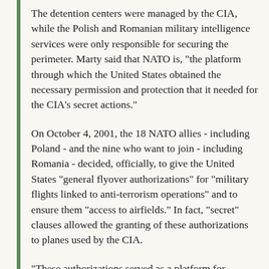The detention centers were managed by the CIA, while the Polish and Romanian military intelligence services were only responsible for securing the perimeter. Marty said that NATO is, "the platform through which the United States obtained the necessary permission and protection that it needed for the CIA's secret actions."
On October 4, 2001, the 18 NATO allies - including Poland - and the nine who want to join - including Romania - decided, officially, to give the United States "general flyover authorizations" for "military flights linked to anti-terrorism operations" and to ensure them "access to airfields." In fact, "secret" clauses allowed the granting of these authorizations to planes used by the CIA.
"These authorizations served as a platform for bilateral agreements that